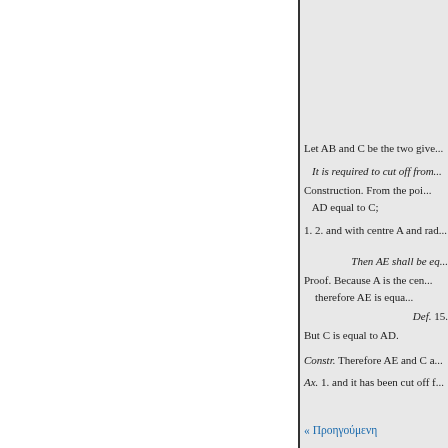Let AB and C be the two give...
It is required to cut off from...
Construction. From the poi... AD equal to C;
1. 2. and with centre A and rad...
Then AE shall be eq...
Proof. Because A is the cen... therefore AE is equa...
Def. 15.
But C is equal to AD.
Constr. Therefore AE and C a...
Ax. 1. and it has been cut off f...
« Προηγούμενη